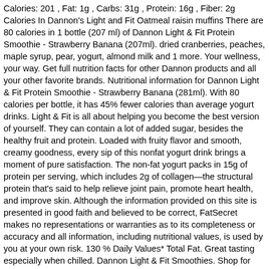Calories: 201 , Fat: 1g , Carbs: 31g , Protein: 16g , Fiber: 2g Calories In Dannon's Light and Fit Oatmeal raisin muffins There are 80 calories in 1 bottle (207 ml) of Dannon Light & Fit Protein Smoothie - Strawberry Banana (207ml). dried cranberries, peaches, maple syrup, pear, yogurt, almond milk and 1 more. Your wellness, your way. Get full nutrition facts for other Dannon products and all your other favorite brands. Nutritional information for Dannon Light & Fit Protein Smoothie - Strawberry Banana (281ml). With 80 calories per bottle, it has 45% fewer calories than average yogurt drinks. Light & Fit is all about helping you become the best version of yourself. They can contain a lot of added sugar, besides the healthy fruit and protein. Loaded with fruity flavor and smooth, creamy goodness, every sip of this nonfat yogurt drink brings a moment of pure satisfaction. The non-fat yogurt packs in 15g of protein per serving, which includes 2g of collagen—the structural protein that's said to help relieve joint pain, promote heart health, and improve skin. Although the information provided on this site is presented in good faith and believed to be correct, FatSecret makes no representations or warranties as to its completeness or accuracy and all information, including nutritional values, is used by you at your own risk. 130 % Daily Values* Total Fat. Great tasting especially when chilled. Dannon Light & Fit Smoothies. Shop for Best Price Dannon Light And Fit Protein Smoothie Review And Ideal Protein Reviews Cost . Calories. The Dannon Company has launched a low-fat protein shake for the